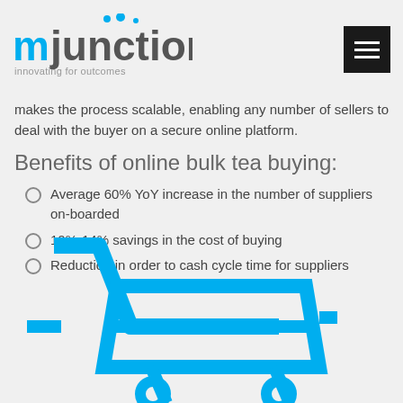mjunction — innovating for outcomes
makes the process scalable, enabling any number of sellers to deal with the buyer on a secure online platform.
Benefits of online bulk tea buying:
Average 60% YoY increase in the number of suppliers on-boarded
10%-14% savings in the cost of buying
Reduction in order to cash cycle time for suppliers
[Figure (illustration): Blue outline shopping cart icon, partially visible at bottom of page]